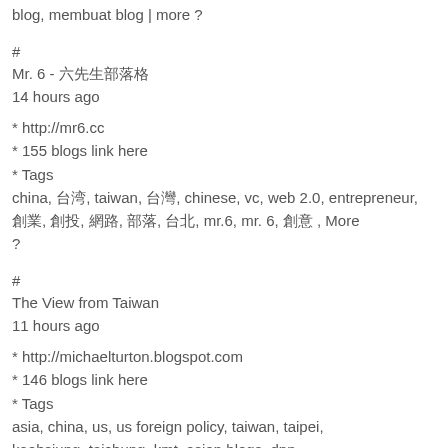blog, membuat blog, more ?
#
Mr. 6 - 六先生部落格
14 hours ago
* http://mr6.cc
* 155 blogs link here
* Tags
china, 台湾, taiwan, 台灣, chinese, vc, web 2.0, entrepreneur, 創業, 創投, 網路, 部落, 台北, mr.6, mr. 6, 創意 , More ?
#
The View from Taiwan
11 hours ago
* http://michaelturton.blogspot.com
* 146 blogs link here
* Tags
asia, china, us, us foreign policy, taiwan, taipei, kaohsiung, taichung, kmt, asian blogs, dpp, taiwan blogs, asia & allies, More ?